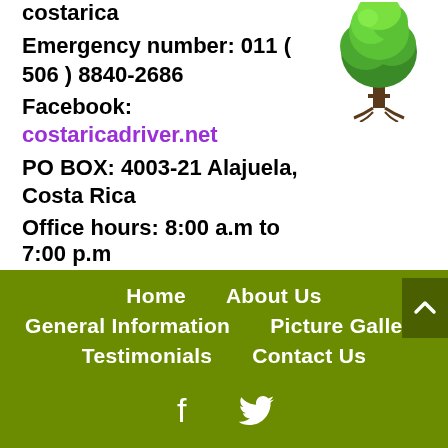costarica
Emergency number: 011 ( 506 ) 8840-2686
Facebook:
costaricadriver.net
PO BOX: 4003-21 Alajuela, Costa Rica
Office hours: 8:00 a.m to 7:00 p.m
[Figure (logo): Think Green logo - a stylized tree with green foliage and text THINK GREEN]
Home  About Us  General Information  Picture Gallery  Testimonials  Contact Us
[Figure (illustration): Social media icons: Facebook and Twitter (white icons on olive/green background)]